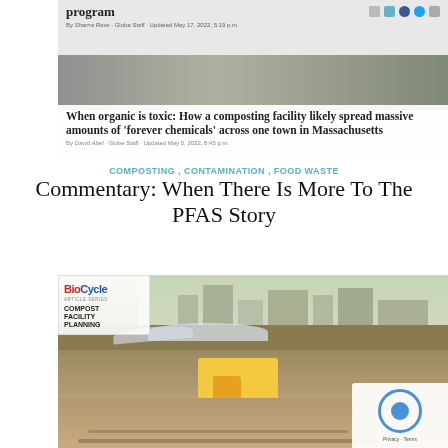[Figure (screenshot): Clipped newspaper/web article screenshot with a large bold headline: 'When organic is toxic: How a composting facility likely spread massive amounts of forever chemicals across one town in Massachusetts' with byline text below, plus a partial headline at top reading 'program'. Icons for bookmark, email, Facebook, Twitter, print appear top right.]
COMPOSTING, CONTAMINATION, FOOD WASTE
Commentary: When There Is More To The PFAS Story
[Figure (photo): Outdoor photo of a compost facility site showing piles of compost/mulch material on a field, a yellow construction truck, with residential buildings visible in the background. Overlaid in top-left corner is a BioCycle 'Article Series: Compost Facility Planning' logo box.]